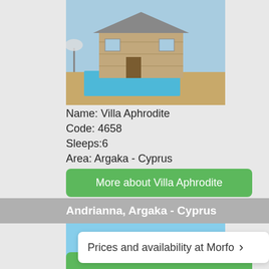[Figure (photo): Stone villa with swimming pool, blue sky background]
Name: Villa Aphrodite
Code: 4658
Sleeps:6
Area: Argaka - Cyprus
More about Villa Aphrodite
Andrianna, Argaka - Cyprus
[Figure (photo): Large golden stone villa with swimming pool]
Name: Andrianna
Code: 4726
Sleeps:8
Area: Argaka
Prices and availability at Morfo ›